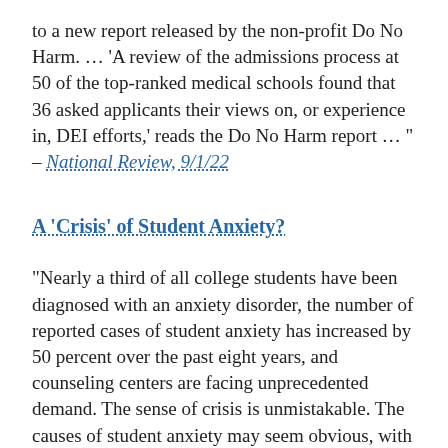to a new report released by the non-profit Do No Harm. … 'A review of the admissions process at 50 of the top-ranked medical schools found that 36 asked applicants their views on, or experience in, DEI efforts,' reads the Do No Harm report … " – National Review, 9/1/22
A 'Crisis' of Student Anxiety?
"Nearly a third of all college students have been diagnosed with an anxiety disorder, the number of reported cases of student anxiety has increased by 50 percent over the past eight years, and counseling centers are facing unprecedented demand. The sense of crisis is unmistakable. The causes of student anxiety may seem obvious, with pandemic disruptions and social-media pressures heading the list, and this approach frames much current commentary. But that interpretation risks oversimplifying a problem that long predates Covid and